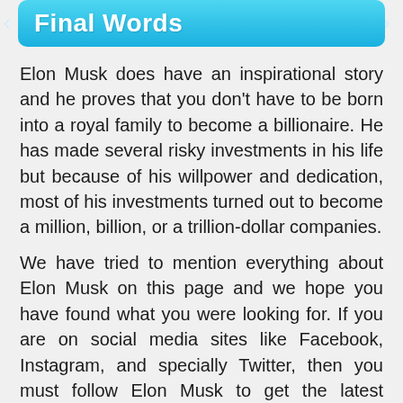Final Words
Elon Musk does have an inspirational story and he proves that you don't have to be born into a royal family to become a billionaire. He has made several risky investments in his life but because of his willpower and dedication, most of his investments turned out to become a million, billion, or a trillion-dollar companies.
We have tried to mention everything about Elon Musk on this page and we hope you have found what you were looking for. If you are on social media sites like Facebook, Instagram, and specially Twitter, then you must follow Elon Musk to get the latest updates about his life and work. If you know anything interesting about him, do let us know too.